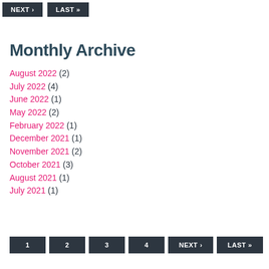NEXT › LAST »
Monthly Archive
August 2022 (2)
July 2022 (4)
June 2022 (1)
May 2022 (2)
February 2022 (1)
December 2021 (1)
November 2021 (2)
October 2021 (3)
August 2021 (1)
July 2021 (1)
1 2 3 4 NEXT › LAST »